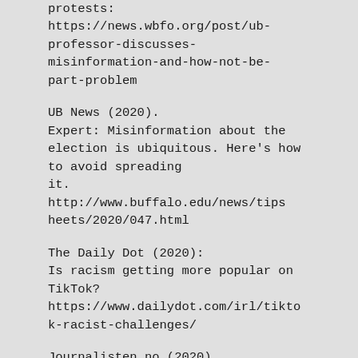protests: https://news.wbfo.org/post/ub-professor-discusses-misinformation-and-how-not-be-part-problem
UB News (2020). Expert: Misinformation about the election is ubiquitous. Here's how to avoid spreading it. http://www.buffalo.edu/news/tipsheets/2020/047.html
The Daily Dot (2020): Is racism getting more popular on TikTok? https://www.dailydot.com/irl/tiktok-racist-challenges/
Journalisten.no (2020). https://journalisten.no/covid-19-